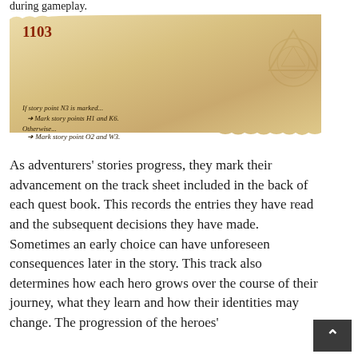during gameplay.
[Figure (illustration): A parchment scroll-style text box with torn paper edges showing entry 1103. Contains narrative text about an orc bandit moving toward a great oak tree, with story point conditions. Background is warm beige/tan with decorative faint triangle/symbol watermark on the right side.]
As adventurers' stories progress, they mark their advancement on the track sheet included in the back of each quest book. This records the entries they have read and the subsequent decisions they have made. Sometimes an early choice can have unforeseen consequences later in the story. This track also determines how each hero grows over the course of their journey, what they learn and how their identities may change. The progression of the heroes'